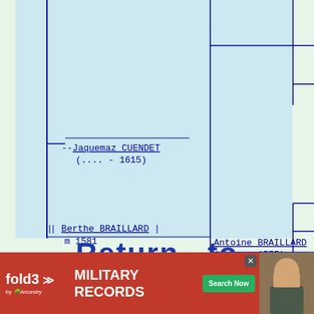[Figure (other): Genealogy family tree diagram showing Jaquemaz CUENDET (.... - 1615), Berthe BRAILLARD m 1581, and Antoine BRAILLARD (.... - 1575) with connecting lines]
Return   to
[Figure (other): fold3 by Ancestry advertisement banner for Military Records with Search Now button and soldier photo]